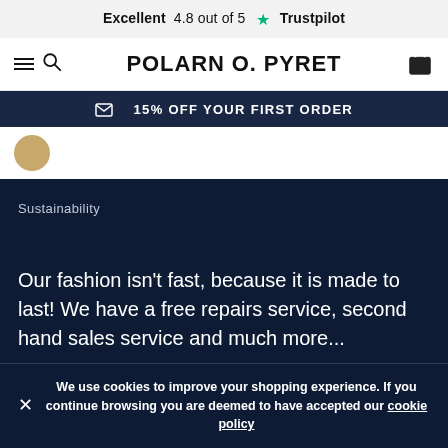Excellent  4.8 out of 5  ★  Trustpilot
POLARN O. PYRET
✉ 15% OFF YOUR FIRST ORDER
Sustainability
Our fashion isn't fast, because it is made to last! We have a free repairs service, second hand sales service and much more...
We use cookies to improve your shopping experience. If you continue browsing you are deemed to have accepted our cookie policy